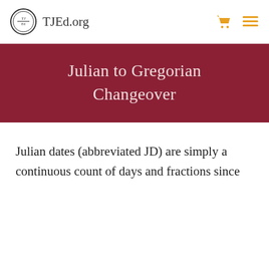TJEd.org
Julian to Gregorian Changeover
Julian dates (abbreviated JD) are simply a continuous count of days and fractions since